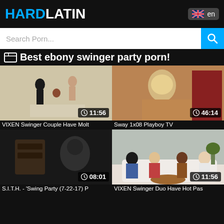HARDLATIN
Search Porn...
🎞 Best ebony swinger party porn!
[Figure (screenshot): Video thumbnail: VIXEN Swinger Couple scene, duration 11:56]
VIXEN Swinger Couple Have Molt
[Figure (screenshot): Video thumbnail: Sway 1x08 Playboy TV, duration 46:14]
Sway 1x08 Playboy TV
[Figure (screenshot): Video thumbnail: S.I.T.H. Swing Party 7-22-17, duration 08:01]
S.I.T.H. - 'Swing Party (7-22-17) P
[Figure (screenshot): Video thumbnail: VIXEN Swinger Duo Have Hot Pas, duration 11:56]
VIXEN Swinger Duo Have Hot Pas